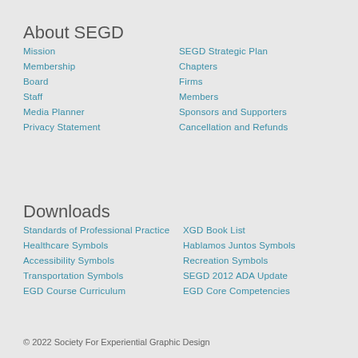About SEGD
Mission
SEGD Strategic Plan
Membership
Chapters
Board
Firms
Staff
Members
Media Planner
Sponsors and Supporters
Privacy Statement
Cancellation and Refunds
Downloads
Standards of Professional Practice
XGD Book List
Healthcare Symbols
Hablamos Juntos Symbols
Accessibility Symbols
Recreation Symbols
Transportation Symbols
SEGD 2012 ADA Update
EGD Course Curriculum
EGD Core Competencies
© 2022 Society For Experiential Graphic Design